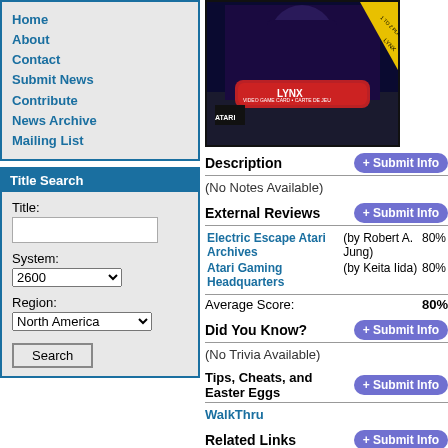Home
About
Contact
Submit News
Contribute
News Archive
Mailing List
Title Search
Title: [text input] System: 2600 [dropdown] Region: North America [dropdown] Search [button]
[Figure (photo): Atari Lynx video game card box art for a game, featuring colorful artwork. The box shows 'ATARI LYNX VIDEO GAME CARD • CARTE DE JEU' and '1 TO 2 PLAYERS LYNX' on a yellow corner sticker.]
Description
(No Notes Available)
External Reviews
Electric Escape Atari Archives (by Robert A. Jung) 80%
Atari Gaming Headquarters (by Keita Iida) 80%
Average Score: 80%
Did You Know?
(No Trivia Available)
Tips, Cheats, and Easter Eggs
WalkThru
Related Links